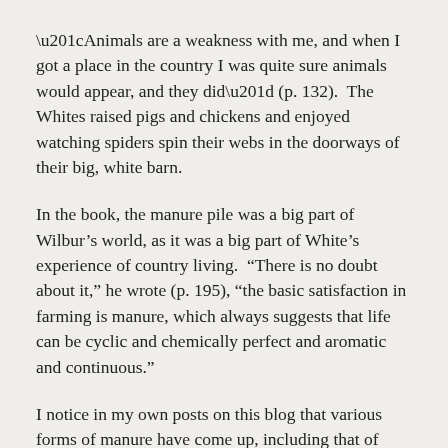“Animals are a weakness with me, and when I got a place in the country I was quite sure animals would appear, and they did” (p. 132).  The Whites raised pigs and chickens and enjoyed watching spiders spin their webs in the doorways of their big, white barn.
In the book, the manure pile was a big part of Wilbur’s world, as it was a big part of White’s experience of country living.  “There is no doubt about it,” he wrote (p. 195), “the basic satisfaction in farming is manure, which always suggests that life can be cyclic and chemically perfect and aromatic and continuous.”
I notice in my own posts on this blog that various forms of manure have come up, including that of turtles and birds.  The truth is that encountering scat is part of being outdoors and gives us clues as to who is doing what and where.  My first chore when I arrive at our cabin is to sweep the guano off the stoop.  Bats sleep in the peak of the covered entry